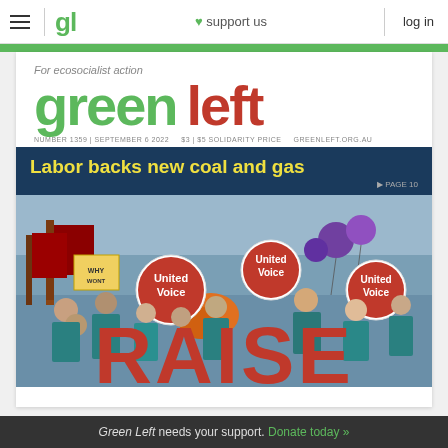≡  gl  ♥ support us  log in
For ecosocialist action
green left
NUMBER 1359 | SEPTEMBER 6 2022   $3 | $5 SOLIDARITY PRICE   GREENLEFT.ORG.AU
Labor backs new coal and gas
▶ PAGE 10
[Figure (photo): Protest crowd scene with people holding United Voice signs, placards and balloons, with large red RAISE text overlay at bottom]
Green Left needs your support. Donate today »